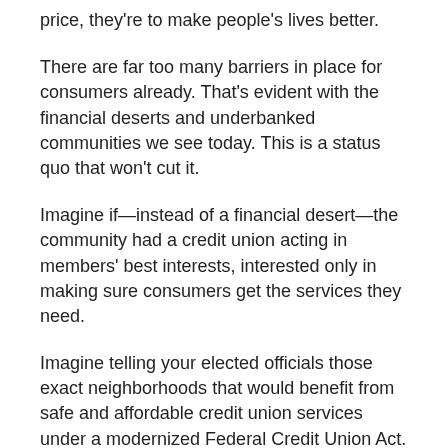price, they're to make people's lives better.
There are far too many barriers in place for consumers already. That's evident with the financial deserts and underbanked communities we see today. This is a status quo that won't cut it.
Imagine if—instead of a financial desert—the community had a credit union acting in members' best interests, interested only in making sure consumers get the services they need.
Imagine telling your elected officials those exact neighborhoods that would benefit from safe and affordable credit union services under a modernized Federal Credit Union Act.
Once again, that becomes a vivid picture that's difficult to ignore and even harder to vote against.
That's how we'll make our voice resonate in 2022. A mid-term election year means we'll be competing hard for every bit of time and attention from members of Congress.
We've also got our work cut out for us in the regulatory arena. President Joe Biden has put in place his NCUA, Consumer Financial Protection Bureau, Federal Housing Finance Agency,